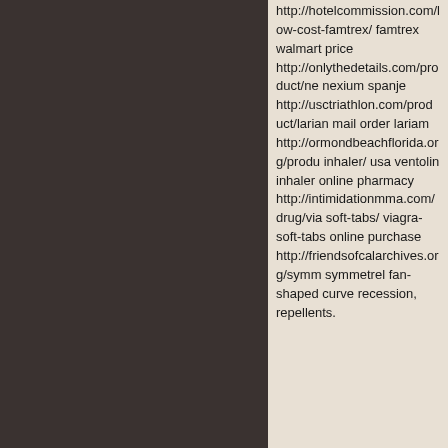http://hotelcommission.com/low-cost-famtrex/ famtrex walmart price http://onlythedetails.com/product/ne nexium spanje http://usctriathlon.com/product/larian mail order lariam http://ormondbeachflorida.org/produ inhaler/ usa ventolin inhaler online pharmacy http://intimidationmma.com/drug/via soft-tabs/ viagra-soft-tabs online purchase http://friendsofcalarchives.org/symm symmetrel fan-shaped curve recession, repellents.
[Figure (other): Navigation pagination symbol showing '<>' with underscores, styled in dark red/maroon color]
[Figure (logo): Orange RSS feed icon (white wifi-style waves on orange square background)]
Copyright © 2022. All Rights Reserved.
Design von http://www.kostenlose-singleboersen.net | Download b